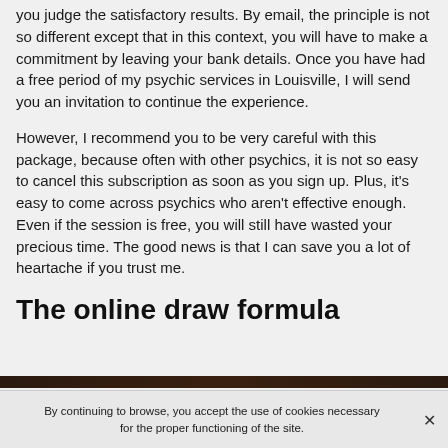you judge the satisfactory results. By email, the principle is not so different except that in this context, you will have to make a commitment by leaving your bank details. Once you have had a free period of my psychic services in Louisville, I will send you an invitation to continue the experience.
However, I recommend you to be very careful with this package, because often with other psychics, it is not so easy to cancel this subscription as soon as you sign up. Plus, it's easy to come across psychics who aren't effective enough. Even if the session is free, you will still have wasted your precious time. The good news is that I can save you a lot of heartache if you trust me.
The online draw formula
By continuing to browse, you accept the use of cookies necessary for the proper functioning of the site.